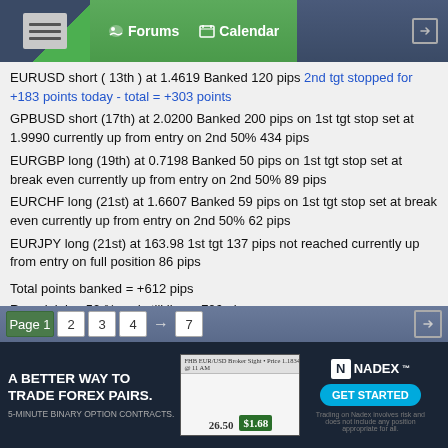Forums | Calendar
EURUSD short ( 13th ) at 1.4619 Banked 120 pips 2nd tgt stopped for +183 points today - total = +303 points
GPBUSD short (17th) at 2.0200 Banked 200 pips on 1st tgt stop set at 1.9990 currently up from entry on 2nd 50% 434 pips
EURGBP long (19th) at 0.7198 Banked 50 pips on 1st tgt stop set at break even currently up from entry on 2nd 50% 89 pips
EURCHF long (21st) at 1.6607 Banked 59 pips on 1st tgt stop set at break even currently up from entry on 2nd 50% 62 pips
EURJPY long (21st) at 163.98 1st tgt 137 pips not reached currently up from entry on full position 86 pips
Total points banked = +612 pips
Remainining 50 % and still live = 706 pips
Total pips gained for positions totally closed
USDCAD loss 90 pips
Page 1  2  3  4  →  7